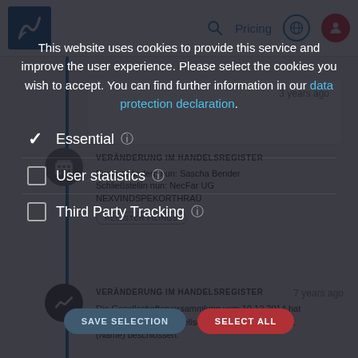Pricing
3 years ago
VERÄNDERUNG IM HANDELSREGISTER
Firma geändert; nun: Sascha Bender
Schließstellin nun: NecFar UG
NEXVINDSPEKORTHRAU
REGISTER FILINGS
This website uses cookies to provide this service and improve the user experience. Please select the cookies you wish to accept. You can find further information in our data protection declaration.
Essential
User statistics
Third Party Tracking
7 years ago
VERÄNDERUNG IM HANDELSREGISTER
Die Gesellschafterversammlung vom 10.12.2014 hat die Änderung des Gesellschaftsvertrages in Ziffer 1 (Name) beschlossen.
REGISTER FILINGS
SAVE SELECTION
SELECT ALL